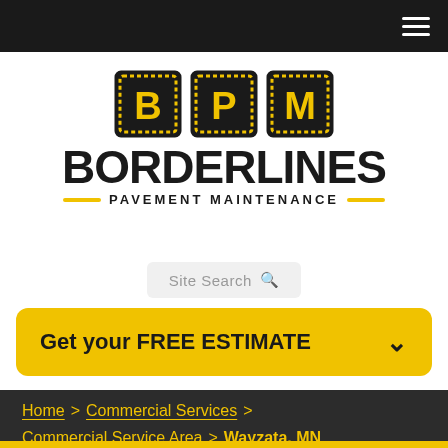Navigation bar with hamburger menu
[Figure (logo): BorderLines Pavement Maintenance logo with BPM letter icons in black and yellow squares, large BORDERLINES text, and PAVEMENT MAINTENANCE subtitle with yellow dashes]
Site Search
Get your FREE ESTIMATE
Home > Commercial Services > Commercial Service Area > Wayzata, MN